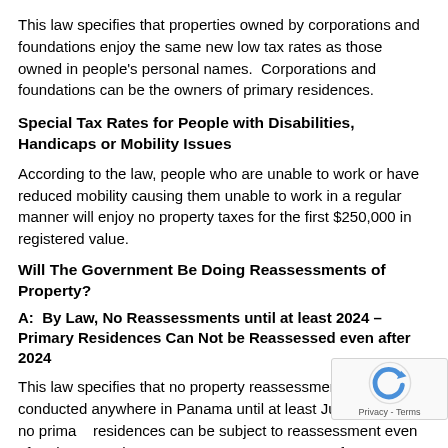This law specifies that properties owned by corporations and foundations enjoy the same new low tax rates as those owned in people's personal names.  Corporations and foundations can be the owners of primary residences.
Special Tax Rates for People with Disabilities, Handicaps or Mobility Issues
According to the law, people who are unable to work or have reduced mobility causing them unable to work in a regular manner will enjoy no property taxes for the first $250,000 in registered value.
Will The Government Be Doing Reassessments of Property?
A:  By Law, No Reassessments until at least 2024 – Primary Residences Can Not be Reassessed even after 2024
This law specifies that no property reassessments may be conducted anywhere in Panama until at least June, 2024, that no primary residences can be subject to reassessment even after that time, that any property reassessments for secondary residences or businesses if they occur must consider the property's depreciation